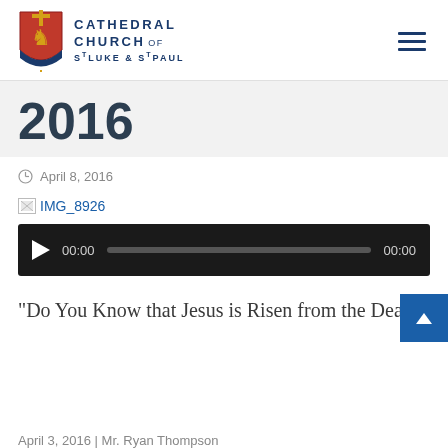[Figure (logo): Cathedral Church of St Luke and St Paul shield logo with cross and lion, alongside text logo]
2016
April 8, 2016
[Figure (photo): Broken image placeholder labeled IMG_8926]
[Figure (other): Audio player widget showing 00:00 time, play button, and progress bar]
“Do You Know that Jesus is Risen from the Dead?”
April 3, 2016 | Mr. Ryan Thompson